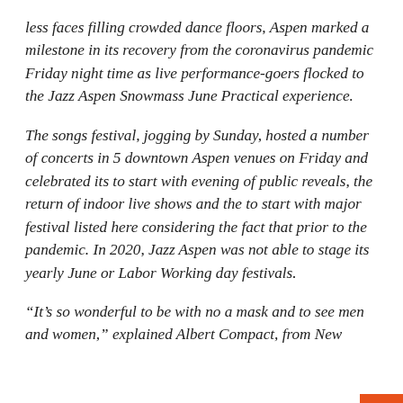less faces filling crowded dance floors, Aspen marked a milestone in its recovery from the coronavirus pandemic Friday night time as live performance-goers flocked to the Jazz Aspen Snowmass June Practical experience.
The songs festival, jogging by Sunday, hosted a number of concerts in 5 downtown Aspen venues on Friday and celebrated its to start with evening of public reveals, the return of indoor live shows and the to start with major festival listed here considering the fact that prior to the pandemic. In 2020, Jazz Aspen was not able to stage its yearly June or Labor Working day festivals.
“It’s so wonderful to be with no a mask and to see men and women,” explained Albert Compact, from New